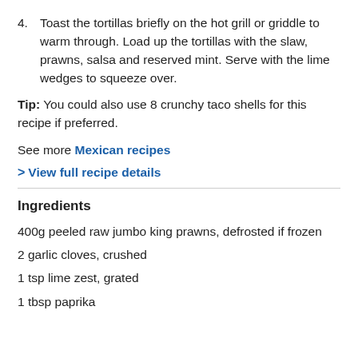4. Toast the tortillas briefly on the hot grill or griddle to warm through. Load up the tortillas with the slaw, prawns, salsa and reserved mint. Serve with the lime wedges to squeeze over.
Tip: You could also use 8 crunchy taco shells for this recipe if preferred.
See more Mexican recipes
> View full recipe details
Ingredients
400g peeled raw jumbo king prawns, defrosted if frozen
2 garlic cloves, crushed
1 tsp lime zest, grated
1 tbsp paprika